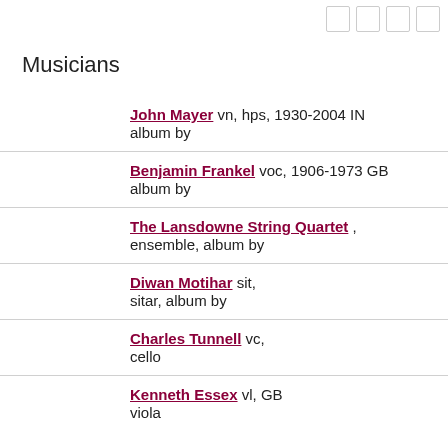Musicians
John Mayer vn, hps, 1930-2004 IN
album by
Benjamin Frankel voc, 1906-1973 GB
album by
The Lansdowne String Quartet ,
ensemble, album by
Diwan Motihar sit,
sitar, album by
Charles Tunnell vc,
cello
Kenneth Essex vl, GB
viola